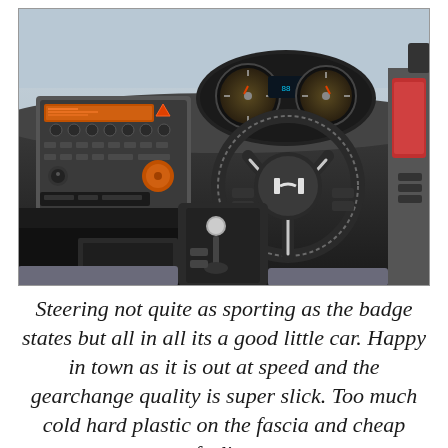[Figure (photo): Interior view of a Honda Jazz (Fit) showing the dashboard, steering wheel with Honda logo, instrument cluster, center console with gear shifter, radio/audio controls, and right-hand drive configuration.]
Steering not quite as sporting as the badge states but all in all its a good little car. Happy in town as it is out at speed and the gearchange quality is super slick. Too much cold hard plastic on the fascia and cheap feeling